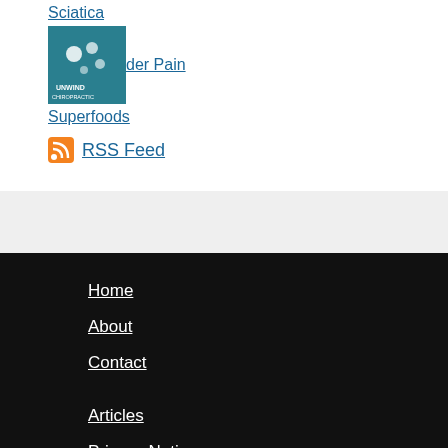Sciatica
Shoulder Pain
Superfoods
RSS Feed
Home
About
Contact
Articles
Privacy Notice
[Figure (logo): Unwind Chiropractic logo with teal circles]